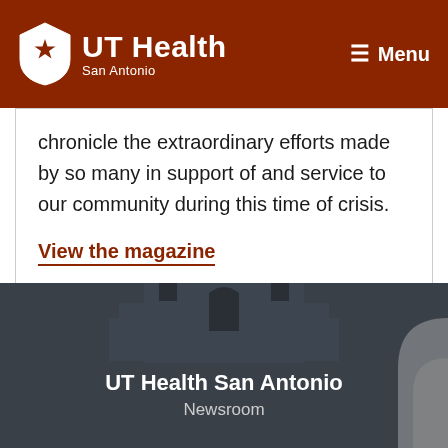UT Health San Antonio — Menu
chronicle the extraordinary efforts made by so many in support of and service to our community during this time of crisis.
View the magazine
[Figure (logo): UT Health San Antonio Newsroom footer with Alamo silhouette graphic on dark charcoal background]
UT Health San Antonio
Newsroom